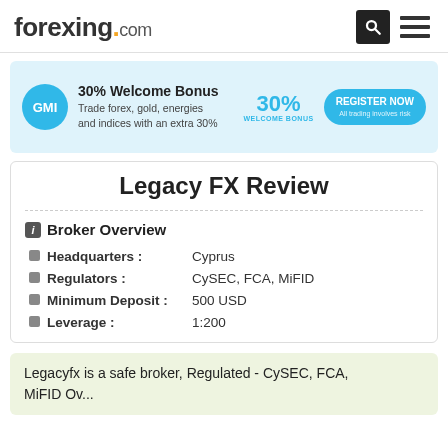forexing.com
[Figure (infographic): GMI broker ad banner: 30% Welcome Bonus, trade forex gold energies and indices with an extra 30%, Register Now button, All trading involves risk disclaimer]
Legacy FX Review
Broker Overview
| Field | Value |
| --- | --- |
| Headquarters : | Cyprus |
| Regulators : | CySEC, FCA, MiFID |
| Minimum Deposit : | 500 USD |
| Leverage : | 1:200 |
Legacyfx is a safe broker, Regulated - CySEC, FCA, MiFID Ov...